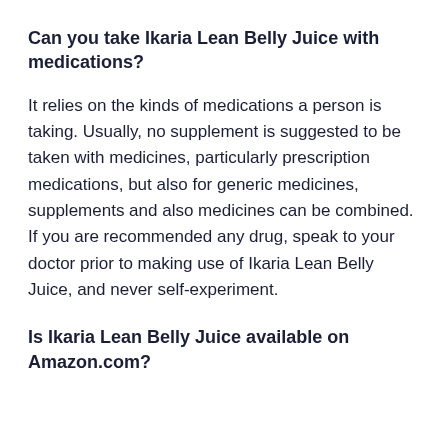Can you take Ikaria Lean Belly Juice with medications?
It relies on the kinds of medications a person is taking. Usually, no supplement is suggested to be taken with medicines, particularly prescription medications, but also for generic medicines, supplements and also medicines can be combined. If you are recommended any drug, speak to your doctor prior to making use of Ikaria Lean Belly Juice, and never self-experiment.
Is Ikaria Lean Belly Juice available on Amazon.com?